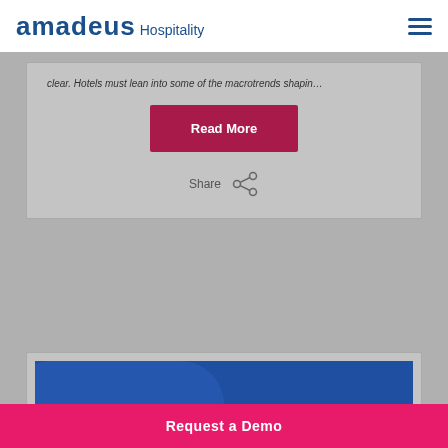amadeus Hospitality
clear. Hotels must lean into some of the macrotrends shapin…
Read More
Share
[Figure (photo): Blue background image with large white bold text reading 'den Rules' (partial, cropped) and partial view of a person in lower right]
Request a Demo